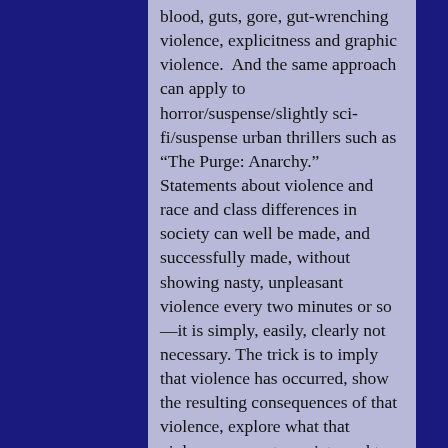blood, guts, gore, gut-wrenching violence, explicitness and graphic violence.  And the same approach can apply to horror/suspense/slightly sci-fi/suspense urban thrillers such as “The Purge: Anarchy.”  Statements about violence and race and class differences in society can well be made, and successfully made, without showing nasty, unpleasant violence every two minutes or so—it is simply, easily, clearly not necessary. The trick is to imply that violence has occurred, show the resulting consequences of that violence, explore what that violence means to society and to people, incorporate that violence into the story and characters and